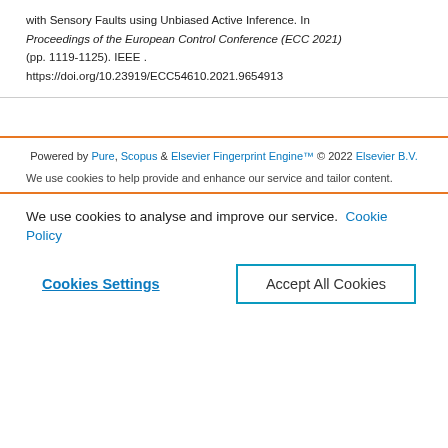with Sensory Faults using Unbiased Active Inference. In Proceedings of the European Control Conference (ECC 2021) (pp. 1119-1125). IEEE . https://doi.org/10.23919/ECC54610.2021.9654913
Powered by Pure, Scopus & Elsevier Fingerprint Engine™ © 2022 Elsevier B.V.
We use cookies to help provide and enhance our service and tailor content.
We use cookies to analyse and improve our service. Cookie Policy
Cookies Settings
Accept All Cookies